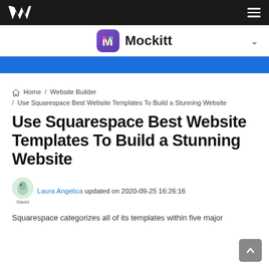Website Builder navigation bar with Wondershare logo and hamburger menu
[Figure (logo): Mockitt app icon and name with dropdown chevron]
[Figure (other): Blue accent bar]
Home / Website Builder / Use Squarespace Best Website Templates To Build a Stunning Website
Use Squarespace Best Website Templates To Build a Stunning Website
Laura Angelica updated on 2020-09-25 16:26:16
Squarespace categorizes all of its templates within five major